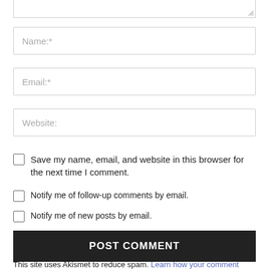[Figure (screenshot): Bottom edge of a textarea form field with resize handle]
Name:*
Email:*
Website:
Save my name, email, and website in this browser for the next time I comment.
Notify me of follow-up comments by email.
Notify me of new posts by email.
POST COMMENT
This site uses Akismet to reduce spam. Learn how your comment data is processed.